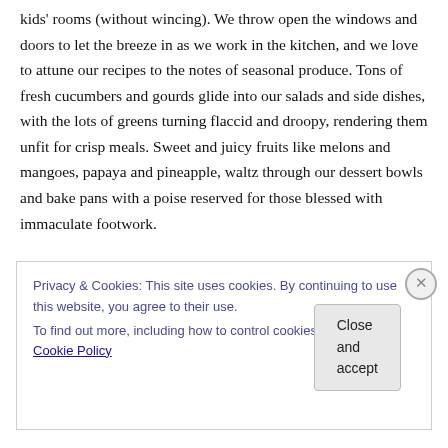kids' rooms (without wincing). We throw open the windows and doors to let the breeze in as we work in the kitchen, and we love to attune our recipes to the notes of seasonal produce. Tons of fresh cucumbers and gourds glide into our salads and side dishes, with the lots of greens turning flaccid and droopy, rendering them unfit for crisp meals. Sweet and juicy fruits like melons and mangoes, papaya and pineapple, waltz through our dessert bowls and bake pans with a poise reserved for those blessed with immaculate footwork.
Privacy & Cookies: This site uses cookies. By continuing to use this website, you agree to their use.
To find out more, including how to control cookies, see here: Cookie Policy